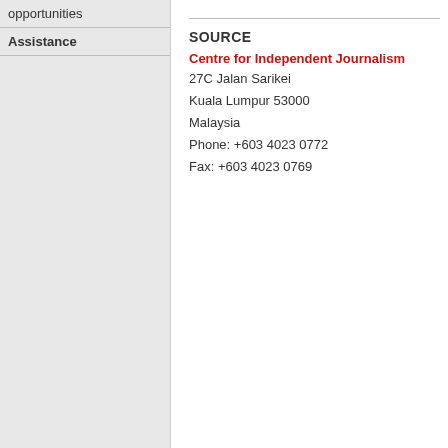opportunities
Assistance
SOURCE
Centre for Independent Journalism
27C Jalan Sarikei
Kuala Lumpur 53000
Malaysia
Phone: +603 4023 0772
Fax: +603 4023 0769